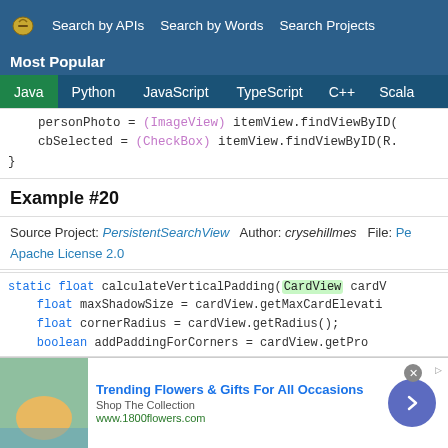Search by APIs  Search by Words  Search Projects  Most Popular
Java  Python  JavaScript  TypeScript  C++  Scala
personPhoto = (ImageView) itemView.findViewById(
    cbSelected = (CheckBox) itemView.findViewByID(R.
}
Example #20
Source Project: PersistentSearchView  Author: crysehillmes  File: Pe...
Apache License 2.0
static float calculateVerticalPadding(CardView cardV
    float maxShadowSize = cardView.getMaxCardElevati
    float cornerRadius = cardView.getRadius();
    boolean addPaddingForCorners = cardView.getPro...
[Figure (screenshot): Advertisement banner: Trending Flowers & Gifts For All Occasions, Shop The Collection, www.1800flowers.com with navigation arrow button]